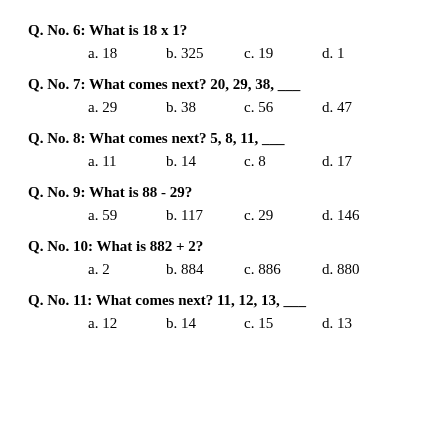Q. No. 6: What is 18 x 1?
a. 18    b. 325    c. 19    d. 1
Q. No. 7: What comes next? 20, 29, 38, ___
a. 29    b. 38    c. 56    d. 47
Q. No. 8: What comes next? 5, 8, 11, ___
a. 11    b. 14    c. 8    d. 17
Q. No. 9: What is 88 - 29?
a. 59    b. 117    c. 29    d. 146
Q. No. 10: What is 882 + 2?
a. 2    b. 884    c. 886    d. 880
Q. No. 11: What comes next? 11, 12, 13, ___
a. 12    b. 14    c. 15    d. 13